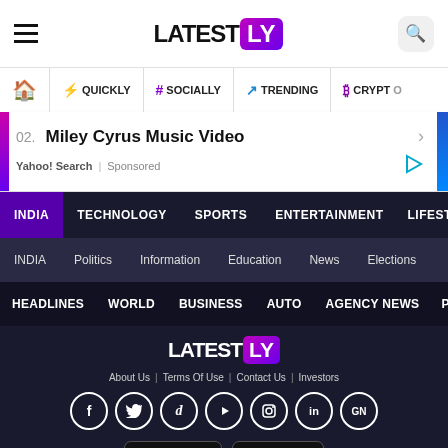LATESTLY - Header navigation bar with hamburger menu, logo, and search button
Navigation: Home | QUICKLY | # SOCIALLY | TRENDING | CRYPTO
02. Miley Cyrus Music Video | Yahoo! Search | Sponsored
INDIA | TECHNOLOGY | SPORTS | ENTERTAINMENT | LIFESTYLE
INDIA | Politics | Information | Education | News | Elections
HEADLINES | WORLD | BUSINESS | AUTO | AGENCY NEWS | PHO
[Figure (logo): Latestly logo in footer - white text LATEST with purple LY badge]
About Us | Terms Of Use | Contact Us | Investors
Social media icons: Facebook, Twitter, Dailymotion, YouTube, Instagram, LinkedIn, Google News
Download on the App Store | GET IT ON Google Play